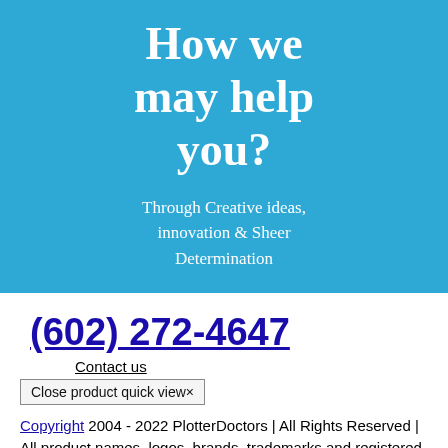How we may help you?
Through Creative ideas, innovation & Sheer Determination
(602) 272-4647
Contact us
Close product quick view×
Copyright 2004 - 2022 PlotterDoctors | All Rights Reserved | All product names, logos, brands, trademarks and registered trademarks are the property of their respective owners.
FacebookLinkedInTwitterYouTube
Go to Top